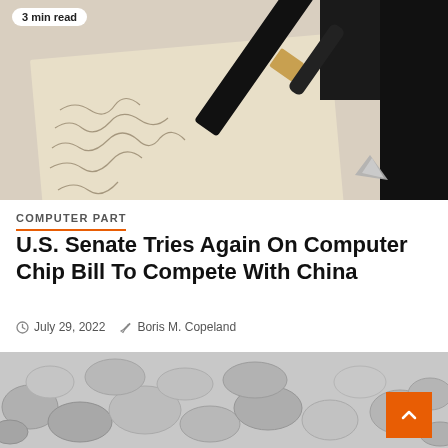[Figure (photo): Close-up of a fountain pen resting on paper with handwritten cursive text, warm beige tones. Badge shows '3 min read'.]
COMPUTER PART
U.S. Senate Tries Again On Computer Chip Bill To Compete With China
July 29, 2022   Boris M. Copeland
[Figure (photo): Black and white photo of a pile of rocks/stones. Badge shows '3 min read'.]